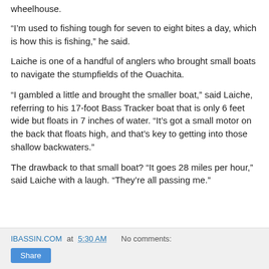wheelhouse.
“I’m used to fishing tough for seven to eight bites a day, which is how this is fishing,” he said.
Laiche is one of a handful of anglers who brought small boats to navigate the stumpfields of the Ouachita.
“I gambled a little and brought the smaller boat,” said Laiche, referring to his 17-foot Bass Tracker boat that is only 6 feet wide but floats in 7 inches of water. “It’s got a small motor on the back that floats high, and that’s key to getting into those shallow backwaters.”
The drawback to that small boat? “It goes 28 miles per hour,” said Laiche with a laugh. “They’re all passing me.”
IBASSIN.COM at 5:30 AM   No comments:   Share